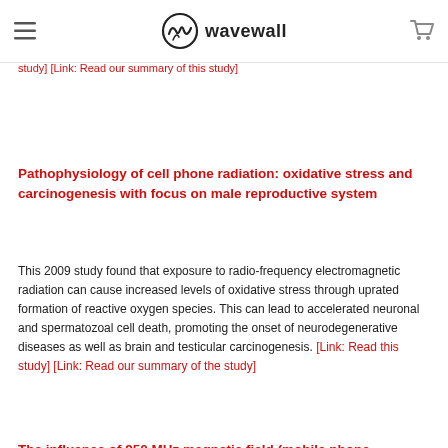wavewall
fragmentation, and also an increase in temperature of the testes, reducing spermatogenesis. [Link: Read this study] [Link: Read a third-party summary of this study] [Link: Read our summary of this study]
Pathophysiology of cell phone radiation: oxidative stress and carcinogenesis with focus on male reproductive system
This 2009 study found that exposure to radio-frequency electromagnetic radiation can cause increased levels of oxidative stress through uprated formation of reactive oxygen species. This can lead to accelerated neuronal and spermatozoal cell death, promoting the onset of neurodegenerative diseases as well as brain and testicular carcinogenesis. [Link: Read this study] [Link: Read our summary of the study]
The influence of 950 MHz magnetic field (mobile phone